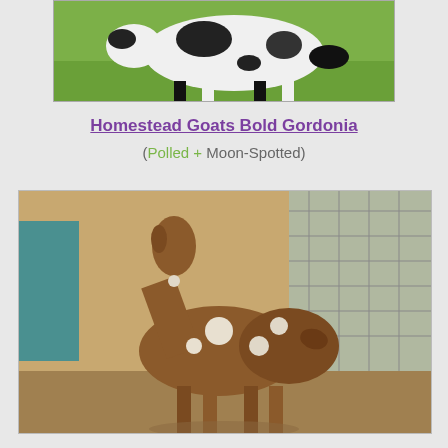[Figure (photo): Black and white spotted goat standing on grass, photographed from the side, partially cropped at top of page]
Homestead Goats Bold Gordonia
(Polled + Moon-Spotted)
[Figure (photo): Brown goat with white spots (moon-spotted) standing in an enclosure with wire fencing, head raised upward, photographed from the side]